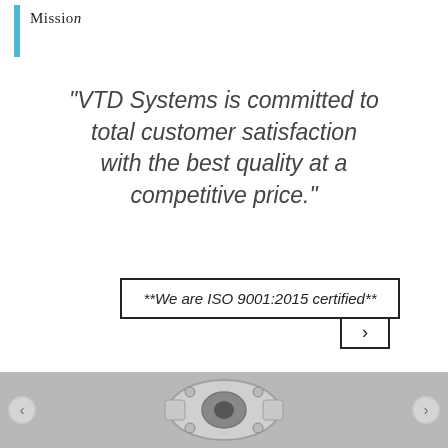Mission
“VTD Systems is committed to total customer satisfaction with the best quality at a competitive price.”
**We are ISO 9001:2015 certified**
[Figure (photo): Photo of a machined metal flange or similar precision-machined part, shown in grayscale]